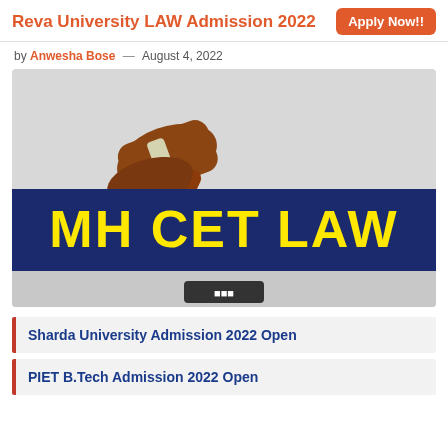Reva University LAW Admission 2022   Apply Now!!
by Anwesha Bose — August 4, 2022
[Figure (illustration): MH CET LAW banner with a judge's gavel on a gray background and bold yellow text 'MH CET LAW' on a dark navy blue banner.]
Sharda University Admission 2022 Open
PIET B.Tech Admission 2022 Open